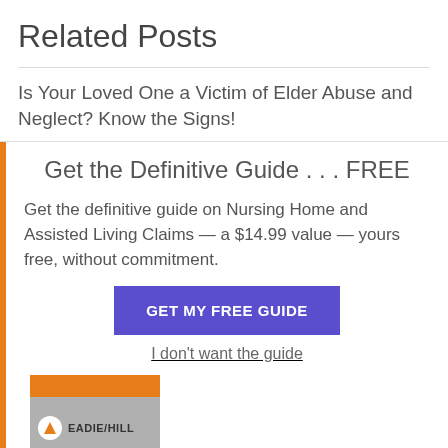Related Posts
Is Your Loved One a Victim of Elder Abuse and Neglect? Know the Signs!
Get the Definitive Guide . . . FREE
Get the definitive guide on Nursing Home and Assisted Living Claims — a $14.99 value — yours free, without commitment.
GET MY FREE GUIDE
I don't want the guide
[Figure (logo): Book cover with orange top bar and EADIE/HILL firm name with logo mark on grey background]